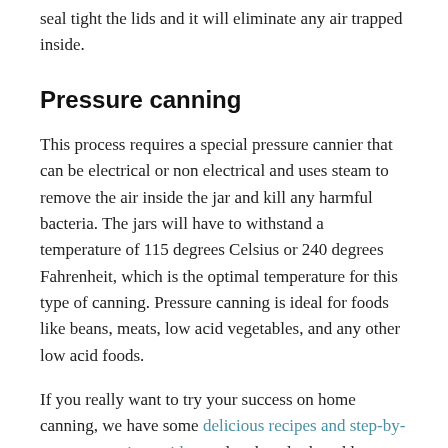seal tight the lids and it will eliminate any air trapped inside.
Pressure canning
This process requires a special pressure cannier that can be electrical or non electrical and uses steam to remove the air inside the jar and kill any harmful bacteria. The jars will have to withstand a temperature of 115 degrees Celsius or 240 degrees Fahrenheit, which is the optimal temperature for this type of canning. Pressure canning is ideal for foods like beans, meats, low acid vegetables, and any other low acid foods.
If you really want to try your success on home canning, we have some delicious recipes and step-by-step preparation guides so do take a look and let us know your opinion!
Regardless of the fact that you choose to buy your emergency food kits from specialized stores or you do it yourself using the canning methods we just described, one thing is for sure: you must be prepared with food and water! Don’t allow yourself to be caught with your guard down by any type of disaster.
Especially nowadays, when survival preparedness has surfaced and